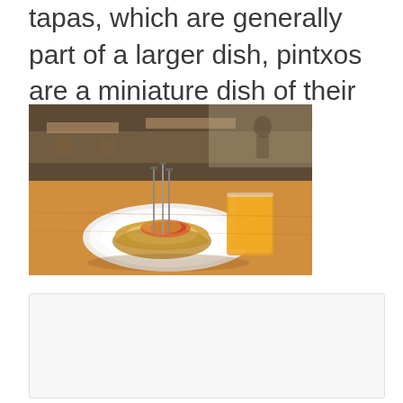tapas, which are generally part of a larger dish, pintxos are a miniature dish of their own.
[Figure (photo): A pintxo (piece of bread with topping, skewered with metal pins) on a white plate on a wooden table, with a glass of orange juice beside it. Restaurant interior visible in background.]